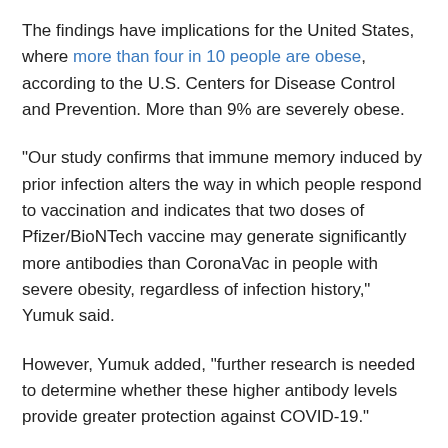The findings have implications for the United States, where more than four in 10 people are obese, according to the U.S. Centers for Disease Control and Prevention. More than 9% are severely obese.
"Our study confirms that immune memory induced by prior infection alters the way in which people respond to vaccination and indicates that two doses of Pfizer/BioNTech vaccine may generate significantly more antibodies than CoronaVac in people with severe obesity, regardless of infection history," Yumuk said.
However, Yumuk added, "further research is needed to determine whether these higher antibody levels provide greater protection against COVID-19."
Data and conclusions presented at meetings should be considered preliminary until published in a peer-reviewed medical journal.